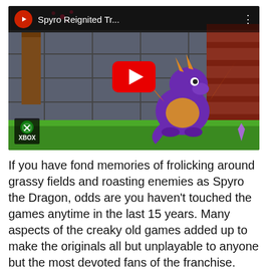[Figure (screenshot): YouTube video thumbnail for 'Spyro Reignited Tr...' showing the purple dragon Spyro standing in a grassy game environment with an Xbox logo badge in the lower left and a red YouTube play button in the center.]
If you have fond memories of frolicking around grassy fields and roasting enemies as Spyro the Dragon, odds are you haven't touched the games anytime in the last 15 years. Many aspects of the creaky old games added up to make the originals all but unplayable to anyone but the most devoted fans of the franchise.
Now here comes along "Spyro Reignited Trilogy," which reinvents the series with wholesale modern trappings. So slick, lovingly created and invigorating are the new games that they figuratively breathe fire on the originals, leaving